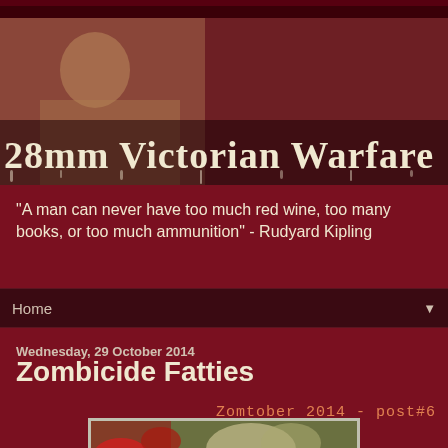[Figure (photo): Blog banner header showing a sepia-toned Victorian gentleman with mustache reclining, with large title text '28mm Victorian Warfare' overlaid in a gothic/horror font with dripping effect]
"A man can never have too much red wine, too many books, or too much ammunition" - Rudyard Kipling
Home ▼
Wednesday, 29 October 2014
Zombicide Fatties
Zomtober 2014 - post#6
[Figure (photo): Partial view of painted zombie miniatures with green and red coloring, zombies from Zombicide board game]